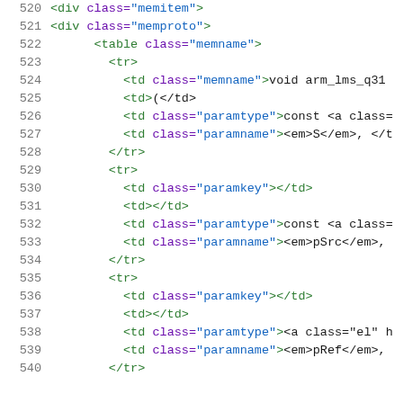[Figure (screenshot): Code viewer showing HTML source lines 520-540 with line numbers on the left and syntax-highlighted HTML code on the right. Green for tags, purple for attribute names, blue for attribute values.]